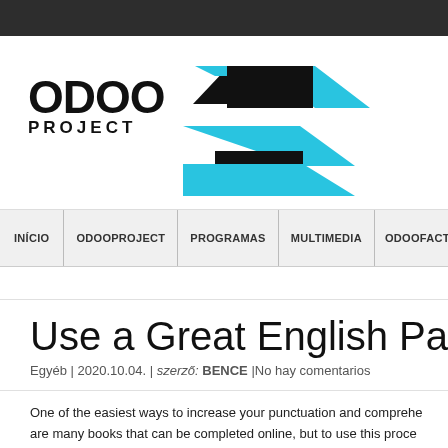[Figure (logo): Odoo Project logo with geometric cyan/black arrow graphic]
INÍCIO | ODOOPROJECT | PROGRAMAS | MULTIMEDIA | ODOOFACTORY
Use a Great English Pap…
Egyéb | 2020.10.04. | szerző: BENCE |No hay comentarios
One of the easiest ways to increase your punctuation and comprehension skills are many books that can be completed online, but to use this process…